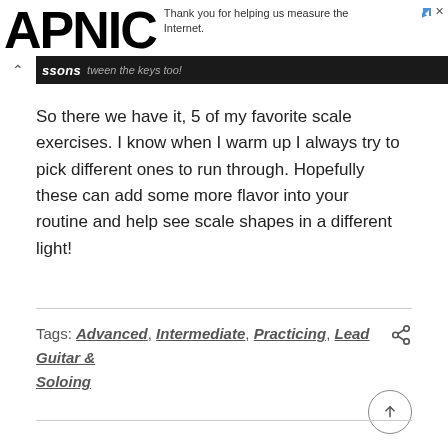APNIC — Thank you for helping us measure the Internet.
So there we have it, 5 of my favorite scale exercises. I know when I warm up I always try to pick different ones to run through. Hopefully these can add some more flavor into your routine and help see scale shapes in a different light!
Tags: Advanced, Intermediate, Practicing, Lead Guitar & Soloing